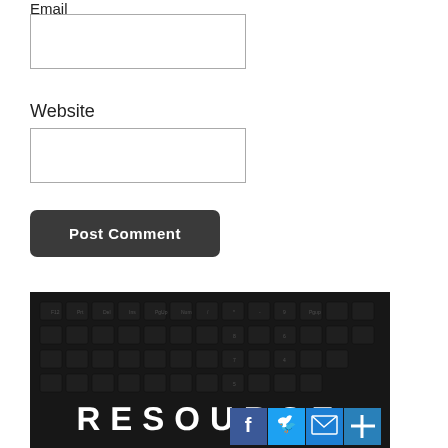Email
[Figure (other): Empty email input text field with border]
Website
[Figure (other): Empty website input text field with border]
Post Comment
[Figure (photo): Dark keyboard background image with the word RESOURCE in large white bold letters overlaid. Social media icon buttons (Facebook, Twitter, Email, Plus) in the bottom right corner.]